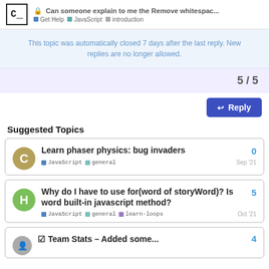Can someone explain to me the Remove whitespac... | Get Help | JavaScript | introduction
This topic was automatically closed 7 days after the last reply. New replies are no longer allowed.
5 / 5
Reply
Suggested Topics
Learn phaser physics: bug invaders
JavaScript | general
0 replies
Sep '21
Why do I have to use for(word of storyWord)? Is word built-in javascript method?
JavaScript | general | learn-loops
5 replies
Oct '21
Team Stats – Added some...